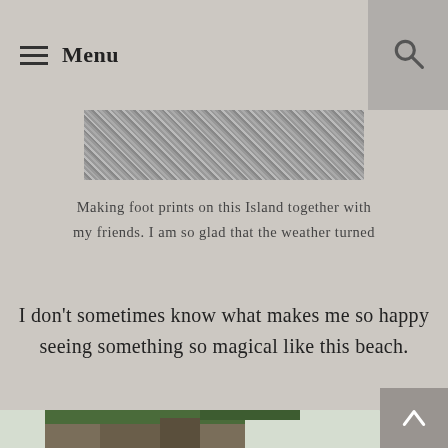Menu
[Figure (photo): Top portion of a grainy/textured photo, partially visible at the top of the page]
Making foot prints on this Island together with my friends. I am so glad that the weather turned
I don't sometimes know what makes me so happy seeing something so magical like this beach.
[Figure (photo): Photo of a rocky cliff with trees and lush green foliage, with a hazy mountainous background visible, seen from an elevated vantage point]